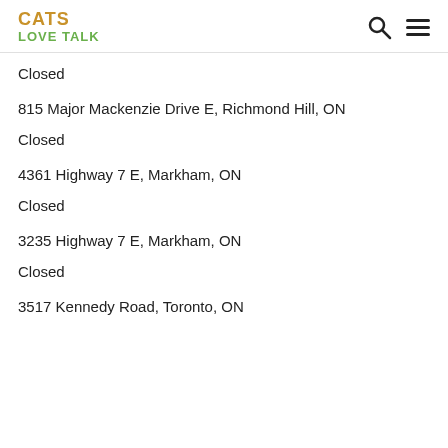CATS LOVE TALK
Closed
815 Major Mackenzie Drive E, Richmond Hill, ON
Closed
4361 Highway 7 E, Markham, ON
Closed
3235 Highway 7 E, Markham, ON
Closed
3517 Kennedy Road, Toronto, ON